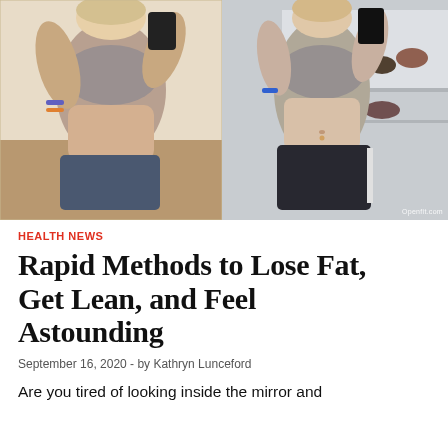[Figure (photo): Before and after fitness transformation photos side by side. Left photo shows a woman in a gray sports bra taking a mirror selfie, before transformation. Right photo shows the same woman after transformation with a leaner midsection, also in a gray sports bra. Watermark reads Openfit.com]
HEALTH NEWS
Rapid Methods to Lose Fat, Get Lean, and Feel Astounding
September 16, 2020  -  by Kathryn Lunceford
Are you tired of looking inside the mirror and